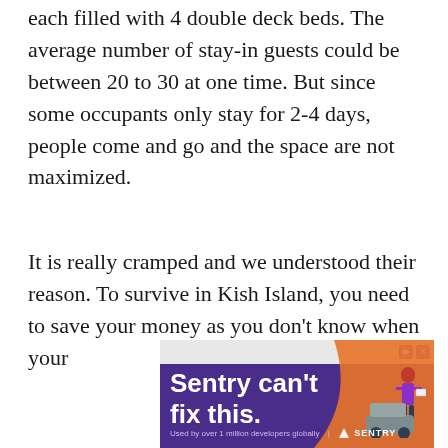each filled with 4 double deck beds. The average number of stay-in guests could be between 20 to 30 at one time. But since some occupants only stay for 2-4 days, people come and go and the space are not maximized.
It is really cramped and we understood their reason. To survive in Kish Island, you need to save your money as you don't know when your
[Figure (other): Advertisement banner for Sentry. Purple background with orange decorative illustration and a figure. Text reads 'Sentry can't fix this.' with tagline 'Used by over 1 million developers globally | SENTRY'. Top bar has play and close icons.]